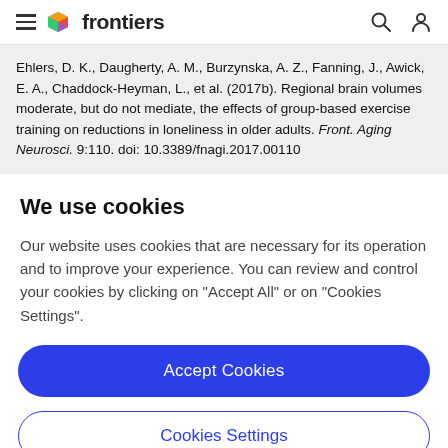frontiers
Ehlers, D. K., Daugherty, A. M., Burzynska, A. Z., Fanning, J., Awick, E. A., Chaddock-Heyman, L., et al. (2017b). Regional brain volumes moderate, but do not mediate, the effects of group-based exercise training on reductions in loneliness in older adults. Front. Aging Neurosci. 9:110. doi: 10.3389/fnagi.2017.00110
We use cookies
Our website uses cookies that are necessary for its operation and to improve your experience. You can review and control your cookies by clicking on "Accept All" or on "Cookies Settings".
Accept Cookies
Cookies Settings